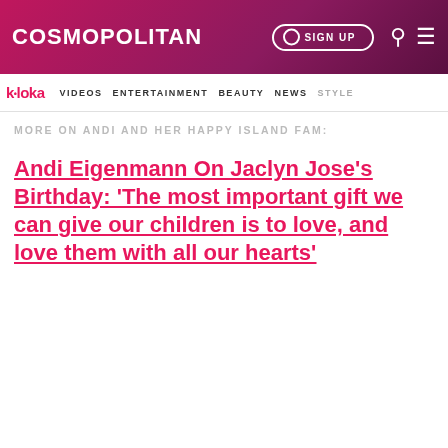COSMOPOLITAN | SIGN UP
k·loka | VIDEOS | ENTERTAINMENT | BEAUTY | NEWS | STYLE
MORE ON ANDI AND HER HAPPY ISLAND FAM:
Andi Eigenmann On Jaclyn Jose's Birthday: 'The most important gift we can give our children is to love, and love them with all our hearts'